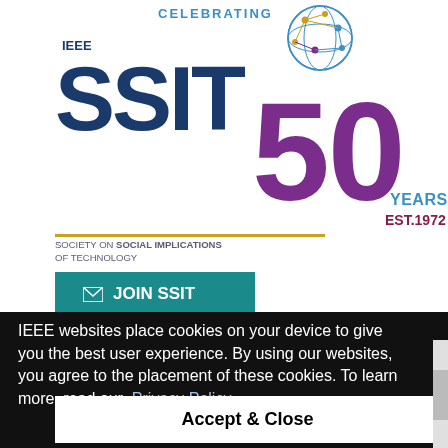[Figure (logo): IEEE SSIT logo celebrating 50 years, with network globe graphic, teal/blue/purple color scheme, text reads 'CELEBRATING', 'IEEE SSIT 50 YEARS EST. 1972', 'SOCIETY ON SOCIAL IMPLICATIONS OF TECHNOLOGY']
✉ JOIN SSIT
IEEE websites place cookies on your device to give you the best user experience. By using our websites, you agree to the placement of these cookies. To learn more, read our Privacy Policy.
Accept & Close
Conferences (90)
Includes: Call for Papers (7) ,